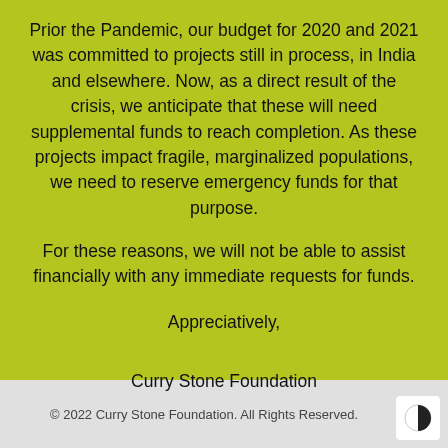Prior the Pandemic, our budget for 2020 and 2021 was committed to projects still in process, in India and elsewhere. Now, as a direct result of the crisis, we anticipate that these will need supplemental funds to reach completion. As these projects impact fragile, marginalized populations, we need to reserve emergency funds for that purpose.
For these reasons, we will not be able to assist financially with any immediate requests for funds.
Appreciatively,
Curry Stone Foundation
© 2022 Curry Stone Foundation. All Rights Reserved.